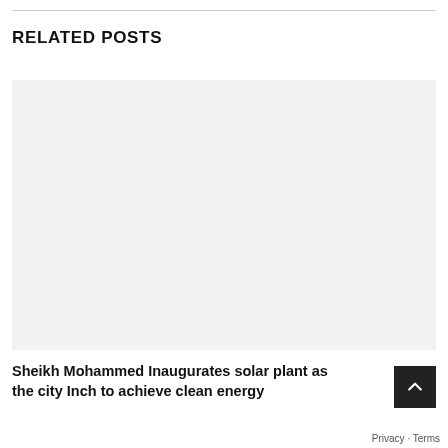RELATED POSTS
[Figure (photo): Light gray placeholder image for a related post thumbnail]
Sheikh Mohammed Inaugurates solar plant as the city Inch to achieve clean energy